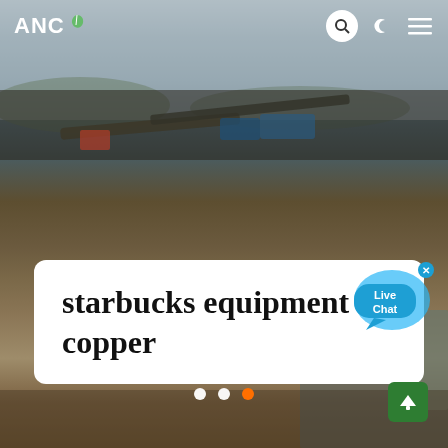[Figure (screenshot): ANC news website screenshot showing aerial photo of mining/industrial site with conveyor belts, machinery, and equipment. Dark hazy sky above. Lower portion shows industrial processing plant structures, a worker walking, and rocky terrain.]
ANC
starbucks equipment in copper
Live Chat